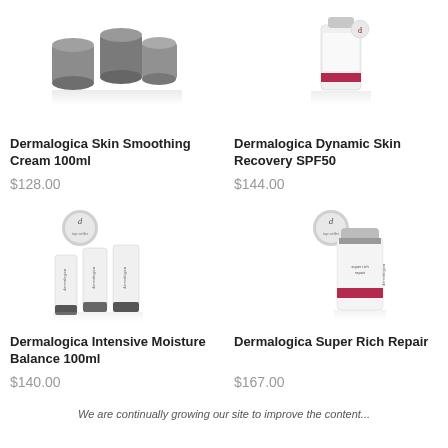[Figure (photo): Dermalogica Skin Smoothing Cream 100ml product image - grey/black jars]
Dermalogica Skin Smoothing Cream 100ml
$128.00
[Figure (photo): Dermalogica Dynamic Skin Recovery SPF50 product image - bottle with pink stripe]
Dermalogica Dynamic Skin Recovery SPF50
$144.00
[Figure (photo): Dermalogica Intensive Moisture Balance 100ml product image - three tubes with top seller badge]
Dermalogica Intensive Moisture Balance 100ml
$140.00
[Figure (photo): Dermalogica Super Rich Repair product image - bottle with top seller badge]
Dermalogica Super Rich Repair
$167.00
We are continually growing our site to improve the content...